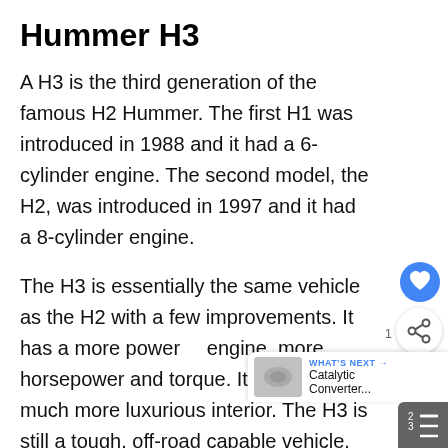Hummer H3
A H3 is the third generation of the famous H2 Hummer. The first H1 was introduced in 1988 and it had a 6-cylinder engine. The second model, the H2, was introduced in 1997 and it had a 8-cylinder engine.
The H3 is essentially the same vehicle as the H2 with a few improvements. It has a more powerful engine, more horsepower and torque. It also has a much more luxurious interior. The H3 is still a tough, off-road capable vehicle, but it is a more comfortable and luxurious ride.